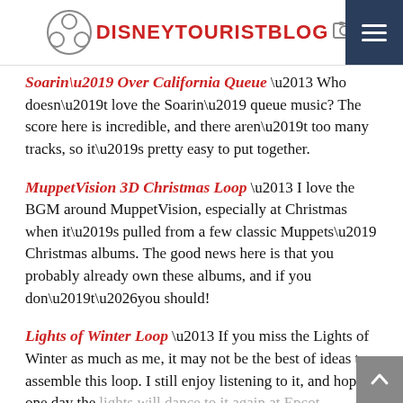DISNEYTOURISTBLOG
Soarin’ Over California Queue – Who doesn’t love the Soarin’ queue music? The score here is incredible, and there aren’t too many tracks, so it’s pretty easy to put together.
MuppetVision 3D Christmas Loop – I love the BGM around MuppetVision, especially at Christmas when it’s pulled from a few classic Muppets’ Christmas albums. The good news here is that you probably already own these albums, and if you don’t…you should!
Lights of Winter Loop – If you miss the Lights of Winter as much as me, it may not be the best of ideas to assemble this loop. I still enjoy listening to it, and hope one day the lights will dance to it again at Epcot.